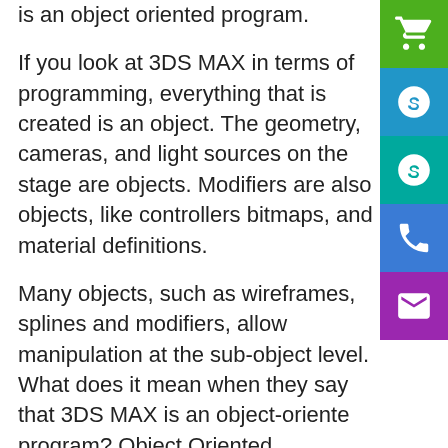is an object oriented program.
If you look at 3DS MAX in terms of programming, everything that is created is an object. The geometry, cameras, and light sources on the stage are objects. Modifiers are also objects, like controllers bitmaps, and material definitions.
Many objects, such as wireframes, splines and modifiers, allow manipulation at the sub-object level. What does it mean when they say that 3DS MAX is an object-oriented program? Object Oriented Programming (OOP) is a sophisticated approach to writing software that is now widely used in
[Figure (infographic): Vertical sidebar with 5 colored icon buttons: green shopping cart, blue Skype logo, teal Skype logo, blue phone, purple email/newsletter icon]